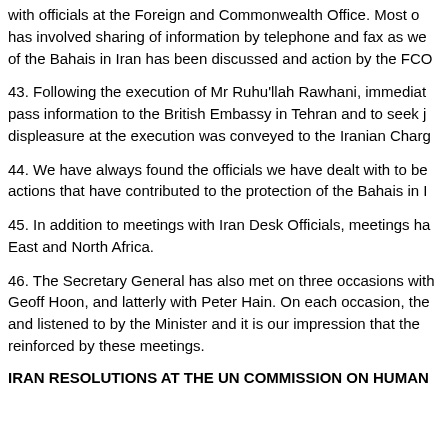with officials at the Foreign and Commonwealth Office. Most of this has involved sharing of information by telephone and fax as well of the Bahais in Iran has been discussed and action by the FCO
43. Following the execution of Mr Ruhu'llah Rawhani, immediately pass information to the British Embassy in Tehran and to seek j displeasure at the execution was conveyed to the Iranian Charg
44. We have always found the officials we have dealt with to be actions that have contributed to the protection of the Bahais in
45. In addition to meetings with Iran Desk Officials, meetings ha East and North Africa.
46. The Secretary General has also met on three occasions with Geoff Hoon, and latterly with Peter Hain. On each occasion, the and listened to by the Minister and it is our impression that the reinforced by these meetings.
IRAN RESOLUTIONS AT THE UN COMMISSION ON HUMAN